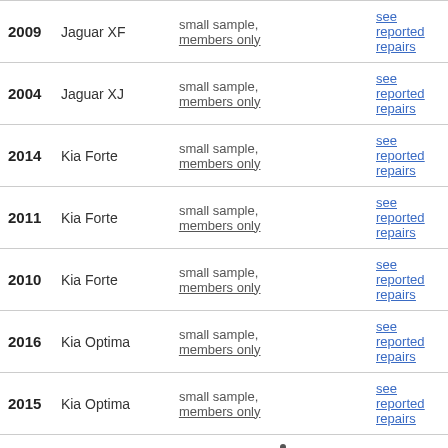| Year | Model | Data | Link |
| --- | --- | --- | --- |
| 2009 | Jaguar XF | small sample, members only | see reported repairs |
| 2004 | Jaguar XJ | small sample, members only | see reported repairs |
| 2014 | Kia Forte | small sample, members only | see reported repairs |
| 2011 | Kia Forte | small sample, members only | see reported repairs |
| 2010 | Kia Forte | small sample, members only | see reported repairs |
| 2016 | Kia Optima | small sample, members only | see reported repairs |
| 2015 | Kia Optima | small sample, members only | see reported repairs |
| 2013 | Kia Optima | 21 [gauge] | see reported repairs |
|  |  | small sample, | see |